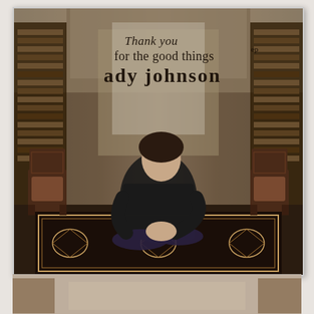[Figure (photo): Album cover for 'Thank you for the good things ep' by Ady Johnson. A man with curly dark hair wearing a dark jacket sits cross-legged on an ornate patterned rug on the floor of what appears to be a grand library or study room with wooden bookshelves, high ceilings, and antique chairs. The text 'Thank you for the good things ep' appears in the upper portion and 'ady johnson' in large lowercase letters below it.]
[Figure (photo): Partial view of a second image at the bottom of the page, showing what appears to be a similar interior setting, partially cropped.]